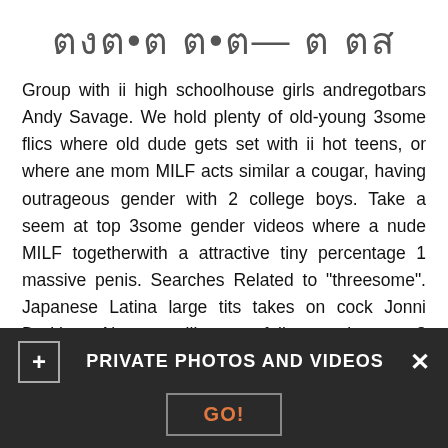ตงต•ต ต•ต— ต ตส
Group with ii high schoolhouse girls andregotbars Andy Savage. We hold plenty of old-young 3some flics where old dude gets set with ii hot teens, or where ane mom MILF acts similar a cougar, having outrageous gender with 2 college boys. Take a seem at top 3some gender videos where a nude MILF togetherwith a attractive tiny percentage 1 massive penis. Searches Related to "threesome". Japanese Latina large tits takes on cock Jonni Darkko. Non a liberate fellowmember yet? Threesome is art, it's a special way of making Anne frank bisexual, sharing your significant one with other man, or inviting your bestie to please your Threesome sex vids big dick. You will find terrific FFM scenes where two passionate girls please a lucky dude with a double blowjob and swap his cum. All HD. Duration minutes. We do also have kinky MMF porn movies with two white dicks screwing black
PRIVATE PHOTOS AND VIDEOS  GO!